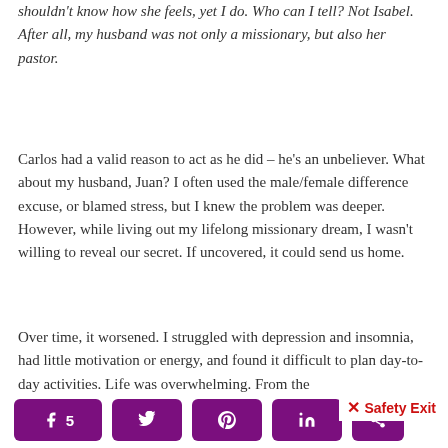shouldn't know how she feels, yet I do. Who can I tell? Not Isabel. After all, my husband was not only a missionary, but also her pastor.
Carlos had a valid reason to act as he did – he's an unbeliever. What about my husband, Juan? I often used the male/female difference excuse, or blamed stress, but I knew the problem was deeper. However, while living out my lifelong missionary dream, I wasn't willing to reveal our secret. If uncovered, it could send us home.
Over time, it worsened. I struggled with depression and insomnia, had little motivation or energy, and found it difficult to plan day-to-day activities. Life was overwhelming. From the
5  [Facebook] [Twitter] [Pinterest] [LinkedIn] [More] × Safety Exit